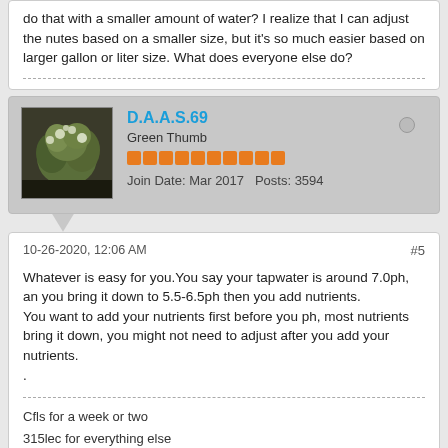do that with a smaller amount of water? I realize that I can adjust the nutes based on a smaller size, but it's so much easier based on larger gallon or liter size. What does everyone else do?
D.A.A.S.69
Green Thumb
Join Date: Mar 2017   Posts: 3594
10-26-2020, 12:06 AM   #5
Whatever is easy for you.You say your tapwater is around 7.0ph, an you bring it down to 5.5-6.5ph then you add nutrients.
You want to add your nutrients first before you ph, most nutrients bring it down, you might not need to adjust after you add your nutrients.
.
Cfls for a week or two
315lec for everything else
Dug up Ms.topsoil, with perlite added
36x36x63 inch tent.
6inch - exaust - intake fans an scrubber
Smart pots
Molasses